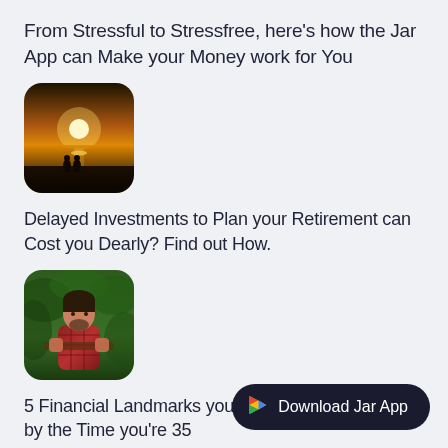From Stressful to Stressfree, here's how the Jar App can Make your Money work for You
[Figure (photo): Sunset landscape with two silhouetted figures standing on a beach/shoreline, sun visible on the horizon]
Delayed Investments to Plan your Retirement can Cost you Dearly? Find out How.
[Figure (photo): Man in plaid shirt leaning on a railing outdoors with green trees in background]
5 Financial Landmarks you should Aim to Achieve by the Time you're 35
Download Jar App